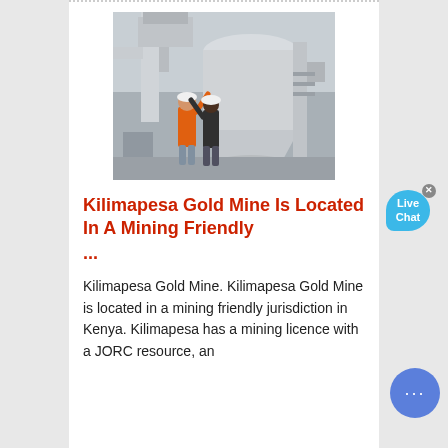[Figure (photo): Two workers in hard hats standing in front of large industrial mining/milling equipment (cone crusher or similar) at a mine site. One worker wears an orange jacket. Industrial structure and machinery visible in background.]
Kilimapesa Gold Mine Is Located In A Mining Friendly ...
Kilimapesa Gold Mine. Kilimapesa Gold Mine is located in a mining friendly jurisdiction in Kenya. Kilimapesa has a mining licence with a JORC resource, an